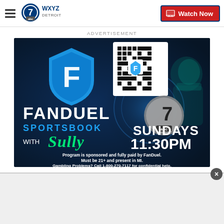WXYZ Detroit — Watch Now (navigation bar with hamburger menu and logo)
ADVERTISEMENT
[Figure (photo): FanDuel Sportsbook advertisement banner. Dark blue background with football player silhouette. FanDuel logo (blue shield with 'F') and a QR code in upper portion. Text reads: FANDUEL SPORTSBOOK with Sully — SUNDAYS 11:30PM on ABC channel 7. Bottom disclaimer: Program is sponsored and fully paid by FanDuel. Must be 21+ and present in MI. Gambling Problems? Call 1-800-270-7117 for confidential help.]
[Figure (screenshot): Empty gray advertisement placeholder area at bottom of page with a close/dismiss button (X) in upper right corner.]